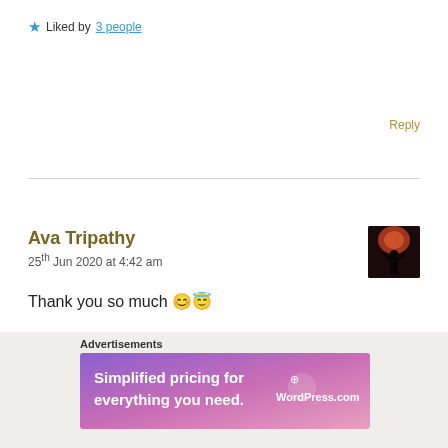★ Liked by 3 people
Reply
Ava Tripathy
25th Jun 2020 at 4:42 am
Thank you so much 😊😇
★ Like
Reply
Advertisements
[Figure (screenshot): WordPress.com advertisement banner: 'Simplified pricing for everything you need.' with WordPress.com logo on gradient purple-pink background]